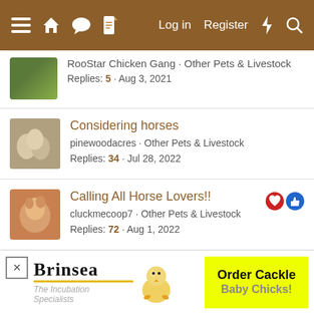Navigation bar with menu, home, chat, document icons and Log in, Register links
RooStar Chicken Gang · Other Pets & Livestock
Replies: 5 · Aug 3, 2021
Considering horses
pinewoodacres · Other Pets & Livestock
Replies: 34 · Jul 28, 2022
Calling All Horse Lovers!!
cluckmecoop7 · Other Pets & Livestock
Replies: 72 · Aug 1, 2022
Share: (reddit) (pinterest) (tumblr) (whatsapp) (email) (link)
< Other Pets & Livestock
[Figure (advertisement): Brinsea - The Incubation Specialists ad with chick graphic]
[Figure (advertisement): Order Cackle Baby Chicks! yellow advertisement banner]